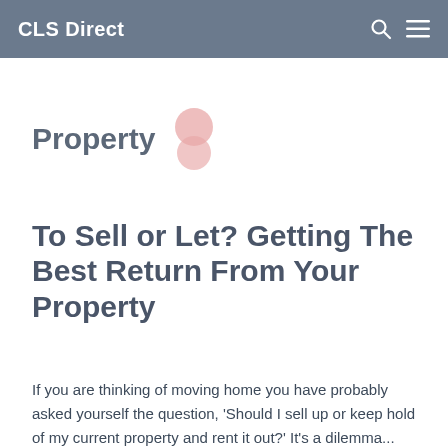CLS Direct
Property
To Sell or Let? Getting The Best Return From Your Property
If you are thinking of moving home you have probably asked yourself the question, 'Should I sell up or keep hold of my current property and rent it out?' It's a dilemma...